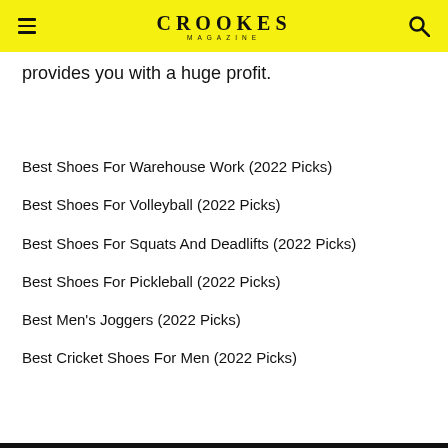CROOKES MAGAZINE
provides you with a huge profit.
Best Shoes For Warehouse Work (2022 Picks)
Best Shoes For Volleyball (2022 Picks)
Best Shoes For Squats And Deadlifts (2022 Picks)
Best Shoes For Pickleball (2022 Picks)
Best Men's Joggers (2022 Picks)
Best Cricket Shoes For Men (2022 Picks)